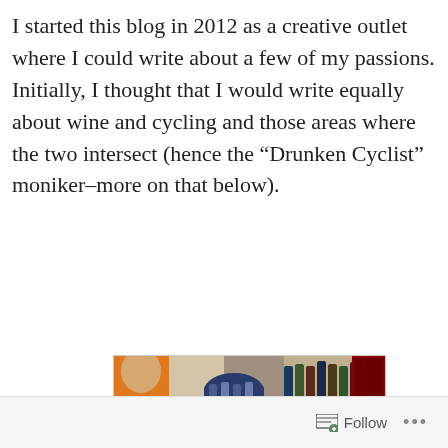I started this blog in 2012 as a creative outlet where I could write about a few of my passions. Initially, I thought that I would write equally about wine and cycling and those areas where the two intersect (hence the “Drunken Cyclist” moniker–more on that below).
[Figure (photo): A person wearing a cycling kit and helmet posing with another person in a white coat inside a wine shop with shelves of wine bottles in the background.]
Follow ...